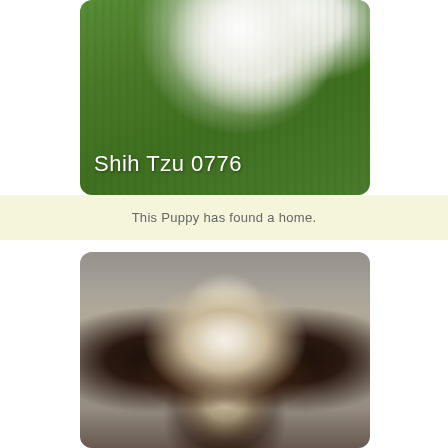[Figure (photo): A white Shih Tzu puppy standing on green grass, with text overlay 'Shih Tzu 0776' in white letters at bottom left]
This Puppy has found a home.
[Figure (photo): Close-up face of a black and white Shih Tzu puppy with blue eyes, looking upward, against a wooden background]